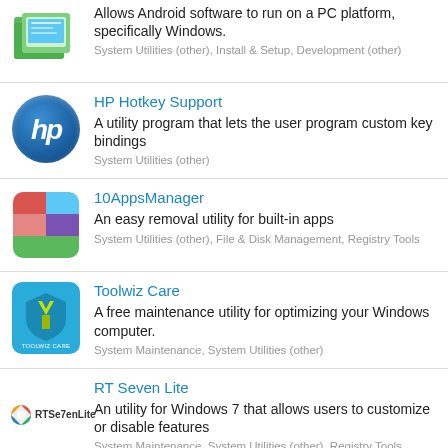[Figure (logo): AmlBus PRO green folder/screen logo]
Allows Android software to run on a PC platform, specifically Windows.
System Utilities (other), Install & Setup, Development (other)
[Figure (logo): HP blue circle logo with hp text]
HP Hotkey Support
A utility program that lets the user program custom key bindings
System Utilities (other)
[Figure (logo): 10AppsManager colored grid logo]
10AppsManager
An easy removal utility for built-in apps
System Utilities (other), File & Disk Management, Registry Tools
[Figure (logo): Toolwiz Care shield logo on blue background]
Toolwiz Care
A free maintenance utility for optimizing your Windows computer.
System Maintenance, System Utilities (other)
[Figure (logo): RT Seven Lite logo with colored wheel and text]
RT Seven Lite
An utility for Windows 7 that allows users to customize or disable features
System Maintenance, System Utilities (other), Registry Tools
[Figure (logo): TypoItIn partially visible logo]
TypoItIn